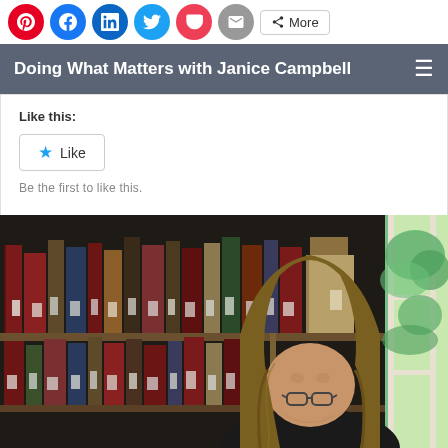Social share icons: Pinterest, Facebook, LinkedIn, Twitter, Pocket, Email, More
Doing What Matters with Janice Campbell
Like this:
Like
Be the first to like this.
[Figure (photo): A young woman with long hair and glasses reading or studying at a desk in front of a large bookshelf filled with books, next to a bright window with green foliage outside.]